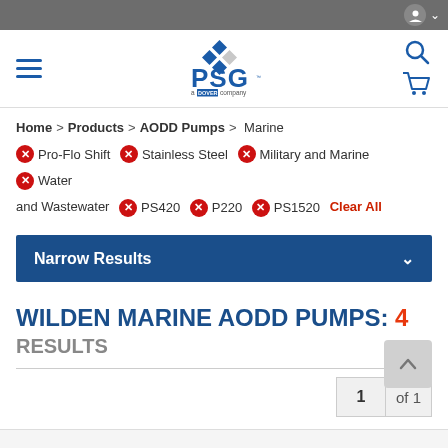PSG a Dover company – website header with hamburger menu, logo, search, and cart icons
Home > Products > AODD Pumps > Marine
❌ Pro-Flo Shift  ❌ Stainless Steel  ❌ Military and Marine  ❌ Water and Wastewater  ❌ PS420  ❌ P220  ❌ PS1520  Clear All
Narrow Results
WILDEN MARINE AODD PUMPS: 4 RESULTS
1 of 1